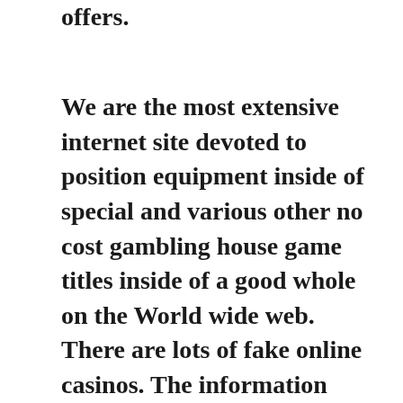offers.
We are the most extensive internet site devoted to position equipment inside of special and various other no cost gambling house game titles inside of a good whole on the World wide web. There are lots of fake online casinos. The information sheet for the fresh poker chips set must also state the plan the casino has for disposing of the old chips. Supplying cost free gambling establishment game motivates fresh people for you to pick their blog